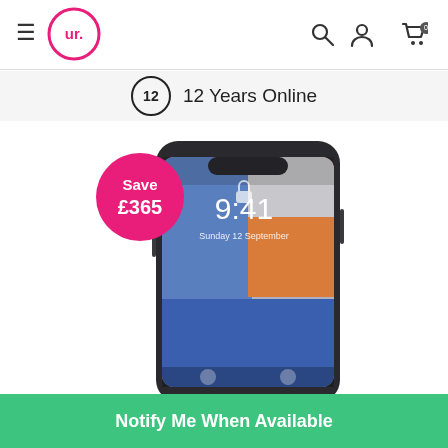ur. — navigation header with hamburger menu, logo, search, account, and cart icons
12 Years Online
[Figure (photo): iPhone X product photo showing lock screen with time 9:41 and colorful wallpaper, with a pink 'Save £365' badge overlay]
[Figure (photo): Thumbnail 1: iPhone X front view (selected, teal border)]
[Figure (photo): Thumbnail 2: iPhone X front view]
[Figure (photo): Thumbnail 3: SIM card tray accessory]
Notify Me When Available